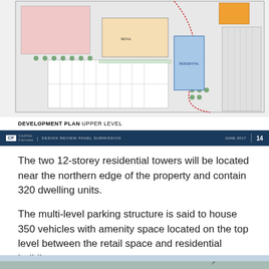[Figure (engineering-diagram): Development plan upper level site map showing building footprints, parking areas, residential towers, retail spaces, and surrounding road network with color-coded zones.]
DEVELOPMENT PLAN UPPER LEVEL
CF | DESIGN REVIEW PANEL SUBMISSION | JUNE 2017 | 14
The two 12-storey residential towers will be located near the northern edge of the property and contain 320 dwelling units.
The multi-level parking structure is said to house 350 vehicles with amenity space located on the top level between the retail space and residential buildings.
[Figure (photo): Partial bottom photograph — aerial or street view of the development site.]